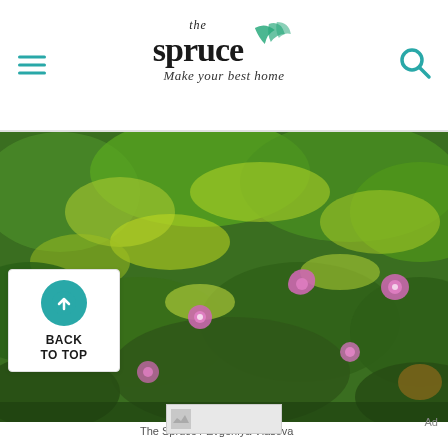the spruce – Make your best home
[Figure (photo): Dense green foliage with pink morning glory flowers blooming throughout, photographed by Evgeniya Vlasova for The Spruce]
The Spruce / Evgeniya Vlasova